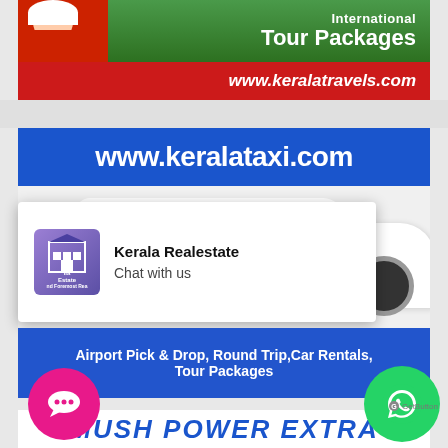[Figure (photo): Kerala Travels advertisement banner with a person in traditional costume, text 'International Tour Packages' and URL www.keralatravels.com on a red strip]
[Figure (photo): Kerala Taxi advertisement banner showing www.keralataxi.com in white text on blue header, with a white Toyota Innova van bearing KeralaTaxi.com logo]
Kerala Realestate
Chat with us
Airport Pick & Drop, Round Trip,Car Rentals, Tour Packages
MUSH POWER EXTRA